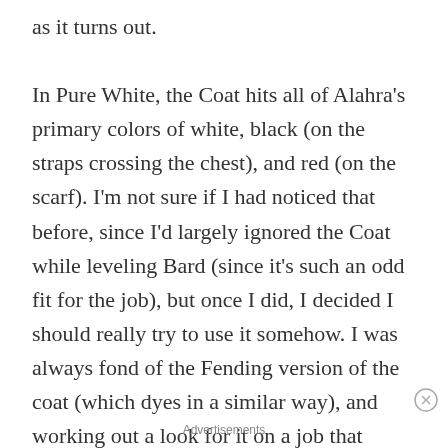as it turns out.

In Pure White, the Coat hits all of Alahra's primary colors of white, black (on the straps crossing the chest), and red (on the scarf). I'm not sure if I had noticed that before, since I'd largely ignored the Coat while leveling Bard (since it's such an odd fit for the job), but once I did, I decided I should really try to use it somehow. I was always fond of the Fending version of the coat (which dyes in a similar way), and working out a look for it on a job that mostly has light armor seemed like it would be a fun puzzle to solve. So, at the next opportunity, I
Advertisements